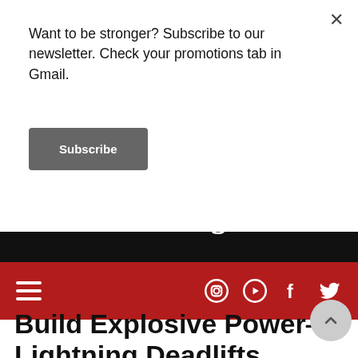Want to be stronger? Subscribe to our newsletter. Check your promotions tab in Gmail.
Subscribe
[Figure (photo): Dark hero banner with muscular fist/forearm and gothic text 'Strong' on black background]
Navigation bar with hamburger menu and social media icons (Instagram, YouTube, Facebook, Twitter) on red background
Build Explosive Power— Lightning Deadlifts